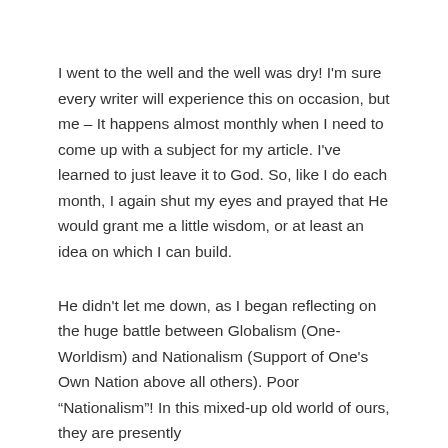I went to the well and the well was dry! I'm sure every writer will experience this on occasion, but me – It happens almost monthly when I need to come up with a subject for my article. I've learned to just leave it to God. So, like I do each month, I again shut my eyes and prayed that He would grant me a little wisdom, or at least an idea on which I can build.
He didn't let me down, as I began reflecting on the huge battle between Globalism (One-Worldism) and Nationalism (Support of One's Own Nation above all others). Poor “Nationalism”! In this mixed-up old world of ours, they are presently